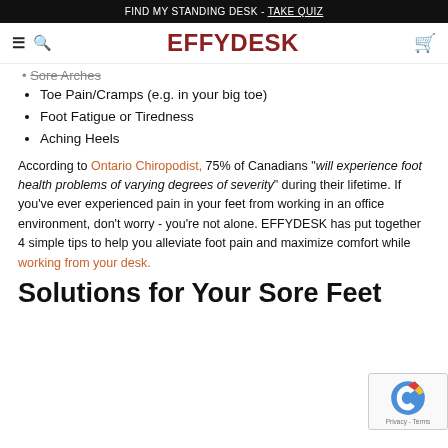FIND MY STANDING DESK - TAKE QUIZ
EFFYDESK
Sore Arches
Toe Pain/Cramps (e.g. in your big toe)
Foot Fatigue or Tiredness
Aching Heels
According to Ontario Chiropodist, 75% of Canadians "will experience foot health problems of varying degrees of severity" during their lifetime. If you've ever experienced pain in your feet from working in an office environment, don't worry - you're not alone. EFFYDESK has put together 4 simple tips to help you alleviate foot pain and maximize comfort while working from your desk.
Solutions for Your Sore Feet